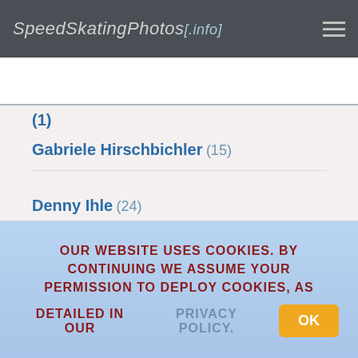SpeedSkatingPhotos[.info]
[Figure (screenshot): Cyan toolbar with image icon [0] and cart icon [0]]
Gabriele Hirschbichler (15)
Denny Ihle (24)
Nico Ihle (23)
OUR WEBSITE USES COOKIES. BY CONTINUING WE ASSUME YOUR PERMISSION TO DEPLOY COOKIES, AS DETAILED IN OUR PRIVACY POLICY. OK